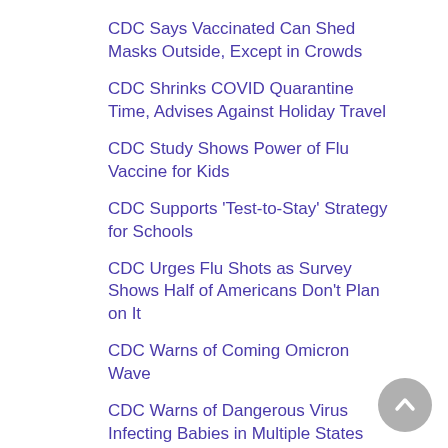CDC Says Vaccinated Can Shed Masks Outside, Except in Crowds
CDC Shrinks COVID Quarantine Time, Advises Against Holiday Travel
CDC Study Shows Power of Flu Vaccine for Kids
CDC Supports 'Test-to-Stay' Strategy for Schools
CDC Urges Flu Shots as Survey Shows Half of Americans Don't Plan on It
CDC Warns of Coming Omicron Wave
CDC Warns of Dangerous Virus Infecting Babies in Multiple States
CDC's Expert Panel OKs Omicron-Specific Booster Shots From Pfizer, Moderna
Celebrate Autumn Traditions Without Raising Your COVID Risk
Cellphone Tracking Can Help Predict Pandemic's Spread
Cellphones Are 'Trojan Horses' for Viruses, Study Finds